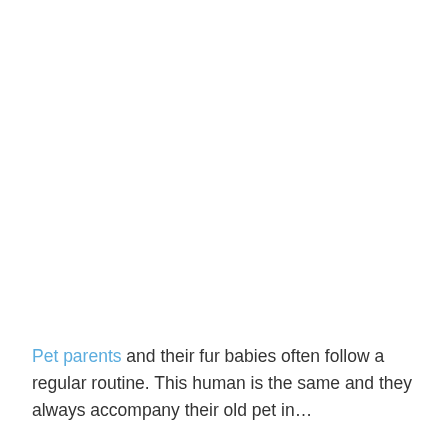Pet parents and their fur babies often follow a regular routine. This human is the same and they always accompany their old pet in...